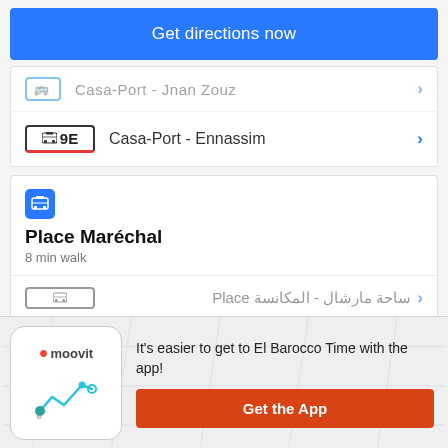Get directions now
Casa-Port - Jnan Zouz (partially visible)
9E  Casa-Port - Ennassim
Place Maréchal
8 min walk
Place ساحة مارشال - المكانسة (partially visible)
It's easier to get to El Barocco Time with the app!
Get the App